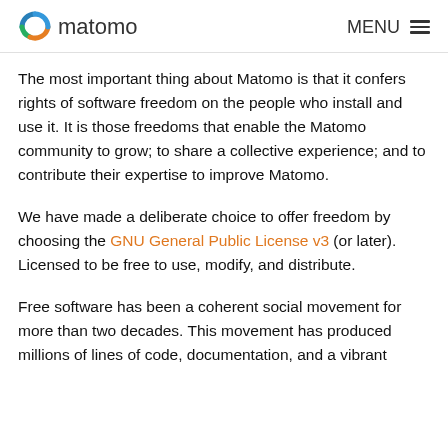matomo   MENU
The most important thing about Matomo is that it confers rights of software freedom on the people who install and use it. It is those freedoms that enable the Matomo community to grow; to share a collective experience; and to contribute their expertise to improve Matomo.
We have made a deliberate choice to offer freedom by choosing the GNU General Public License v3 (or later). Licensed to be free to use, modify, and distribute.
Free software has been a coherent social movement for more than two decades. This movement has produced millions of lines of code, documentation, and a vibrant